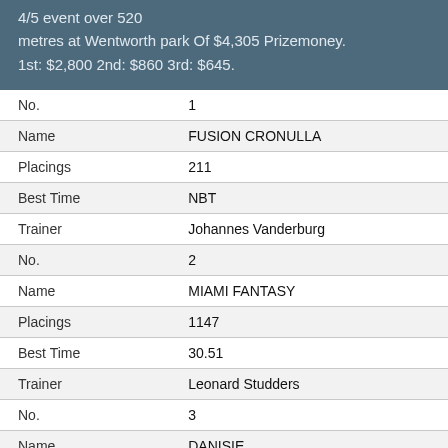4/5 event over 520 metres at Wentworth park Of $4,305 Prizemoney. 1st: $2,800 2nd: $860 3rd: $645.
| No. | 1 |
| Name | FUSION CRONULLA |
| Placings | 211 |
| Best Time | NBT |
| Trainer | Johannes Vanderburg |
| No. | 2 |
| Name | MIAMI FANTASY |
| Placings | 1147 |
| Best Time | 30.51 |
| Trainer | Leonard Studders |
| No. | 3 |
| Name | DANISIE |
| Placings | 2147 |
| Best Time | NBT |